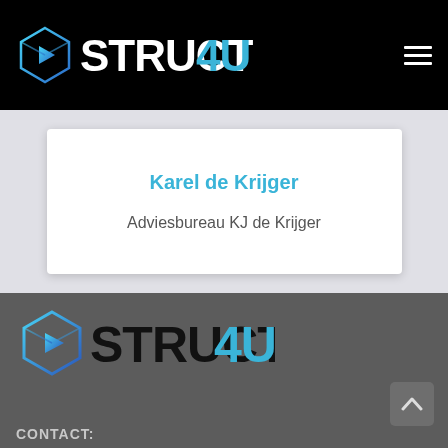STRUCT4U
Karel de Krijger
Adviesbureau KJ de Krijger
[Figure (logo): STRUCT4U logo with geometric cube icon in blue gradient on dark gray footer background]
CONTACT: